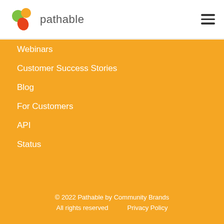pathable
Webinars
Customer Success Stories
Blog
For Customers
API
Status
© 2022 Pathable by Community Brands
All rights reserved    Privacy Policy